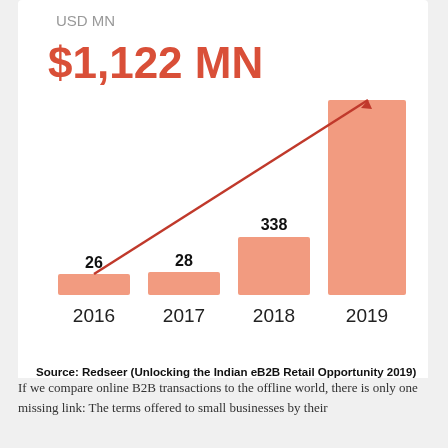[Figure (bar-chart): USD MN / $1,122 MN]
Source: Redseer (Unlocking the Indian eB2B Retail Opportunity 2019)
Image Credits: Redseer
If we compare online B2B transactions to the offline world, there is only one missing link: The terms offered to small businesses by their